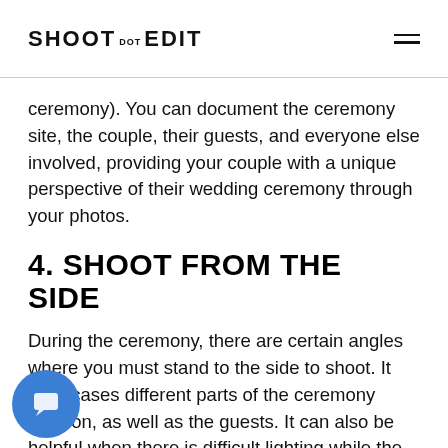SHOOT DOT EDIT
ceremony). You can document the ceremony site, the couple, their guests, and everyone else involved, providing your couple with a unique perspective of their wedding ceremony through your photos.
4. SHOOT FROM THE SIDE
During the ceremony, there are certain angles where you must stand to the side to shoot. It showcases different parts of the ceremony location, as well as the guests. It can also be helpful when there is difficult lighting while the couple and the bridal party walk down the aisle. Another way to shoot from a side